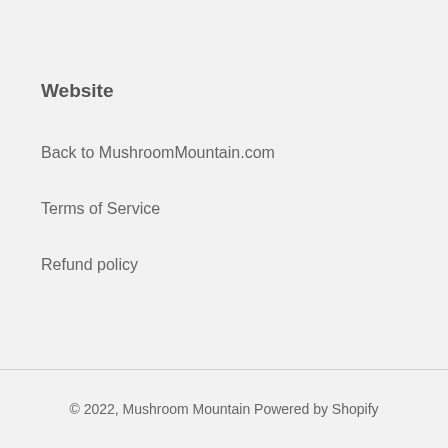Website
Back to MushroomMountain.com
Terms of Service
Refund policy
© 2022, Mushroom Mountain Powered by Shopify